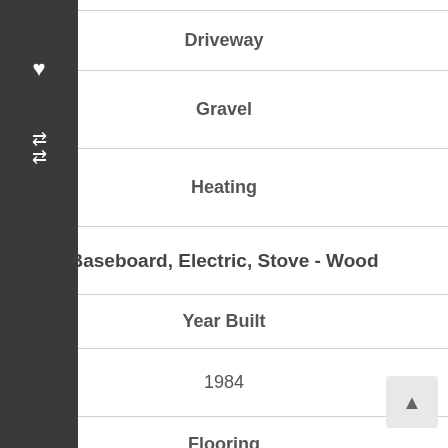Driveway
Gravel
Heating
Baseboard, Electric, Stove - Wood
Year Built
1984
Flooring